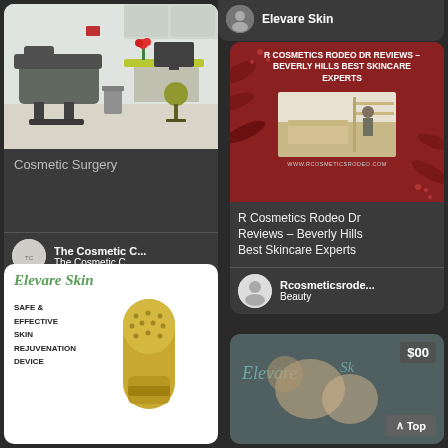[Figure (screenshot): Top-right snippet card showing Elevare Skin brand name with avatar icon]
Elevare Skin
[Figure (photo): Cosmetic surgery room with treatment chair, desk, computer, and medical equipment]
Cosmetic Surgery
[Figure (illustration): Avatar/logo for The Cosmetic C...]
The Cosmetic C...
The Cosmetic C...
[Figure (screenshot): R Cosmetics Rodeo Dr promotional banner image with dark red background, text overlay and interior photo]
R COSMETICS RODEO DR REVIEWS – BEVERLY HILLS BEST SKINCARE EXPERTS
R Cosmetics Rodeo Dr Reviews – Beverly Hills Best Skincare Experts
[Figure (logo): Rcosmeticsrode... logo/avatar circular]
Rcosmeticsrode...
Beauty
[Figure (photo): Elevare Skin product promotional image with script logo and device photo on white background]
Elevare Skin
SAFE & EFFECTIVE SKIN REJUVENATION DEVICE
[Figure (photo): Partial bottom-right card showing Elevare skin product with $00 price badge and Top button]
$00
Top